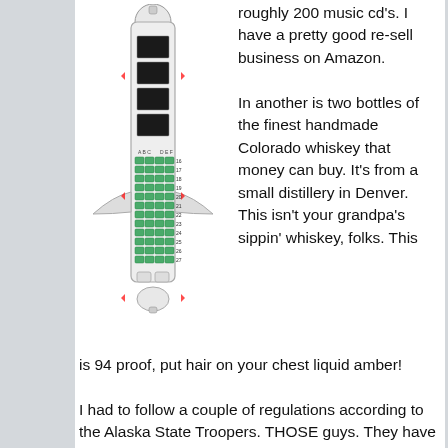[Figure (illustration): Airplane seating diagram/map showing seat layout with green seats numbered 16-27, overhead view of aircraft interior]
roughly 200 music cd's. I have a pretty good re-sell business on Amazon.

In another is two bottles of the finest handmade Colorado whiskey that money can buy. It's from a small distillery in Denver. This isn't your grandpa's sippin' whiskey, folks. This is 94 proof, put hair on your chest liquid amber!

I had to follow a couple of regulations according to the Alaska State Troopers. THOSE guys. They have their own “reality” show on Nat-Geo. It's funny you notice the little things when you live in Alaska and